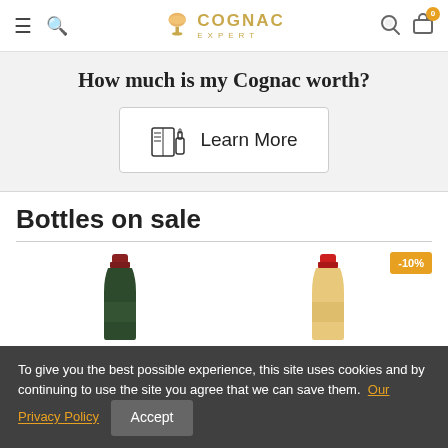Cognac Expert
How much is my Cognac worth?
[Figure (illustration): Learn More button with book and bottle icon]
Bottles on sale
[Figure (photo): Two cognac bottles partially visible, one with -10% sale badge]
To give you the best possible experience, this site uses cookies and by continuing to use the site you agree that we can save them. Our Privacy Policy Accept